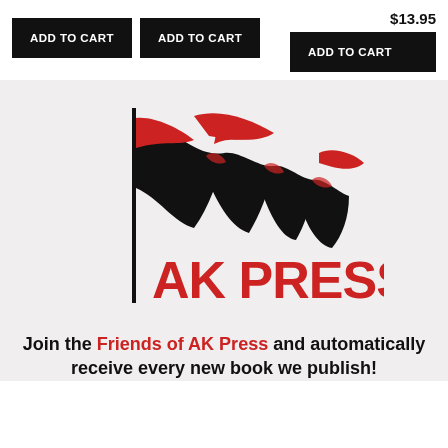$13.95
ADD TO CART
ADD TO CART
ADD TO CART
[Figure (logo): Friends of AK Press logo: a waving flag in black and red with 'FRIENDS OF' written vertically and 'AK PRESS' written in large red letters below]
Join the Friends of AK Press and automatically receive every new book we publish!